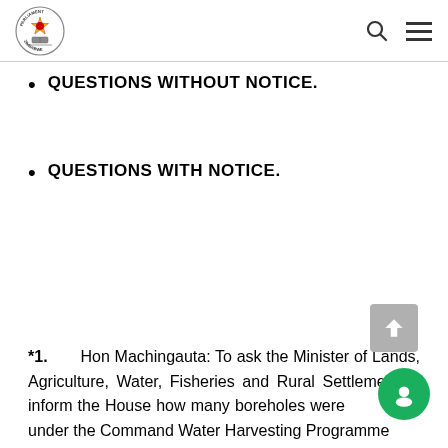Parliament of Zimbabwe header with logo, search icon, and menu icon
QUESTIONS WITHOUT NOTICE.
QUESTIONS WITH NOTICE.
*1.        Hon Machingauta: To ask the Minister of Lands, Agriculture, Water, Fisheries and Rural Settlement to inform the House how many boreholes were drilled under the Command Water Harvesting Programme